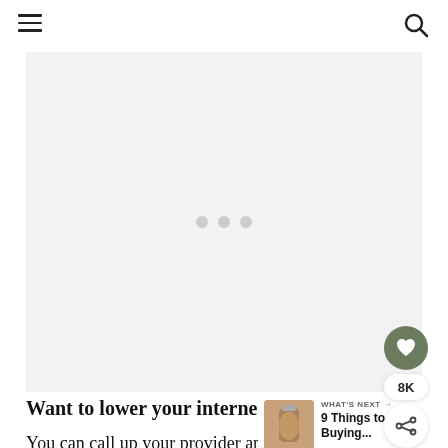Navigation bar with hamburger menu and search icon
[Figure (other): Ad placeholder area with three light grey loading dots centered in a light grey rectangle]
[Figure (other): Floating action buttons: heart/save button (dark green circle with white heart, 8K count label, share button)]
Want to lower your internet bill?
[Figure (other): What's Next card showing thumbnail image of iced drink and text: WHAT'S NEXT → 9 Things to Stop Buying...]
You can call up your provider and ask for a better rate.